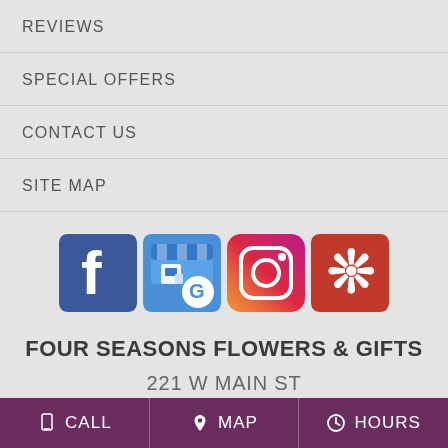REVIEWS
SPECIAL OFFERS
CONTACT US
SITE MAP
[Figure (logo): Social media icons: Facebook, Google My Business, Instagram, Yelp]
FOUR SEASONS FLOWERS & GIFTS
221 W MAIN ST
LOUDONVILLE, OH. 44842
CALL   MAP   HOURS